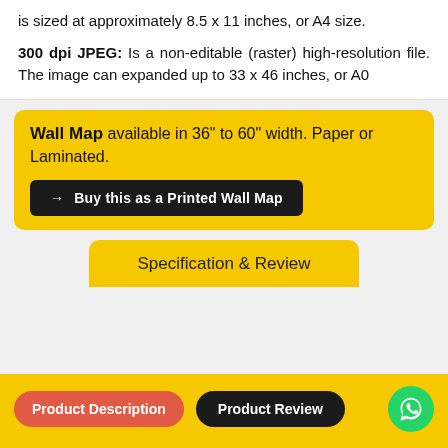is sized at approximately 8.5 x 11 inches, or A4 size.
300 dpi JPEG: Is a non-editable (raster) high-resolution file. The image can expanded up to 33 x 46 inches, or A0
Wall Map available in 36" to 60" width. Paper or Laminated.
→ Buy this as a Printed Wall Map
Specification & Review
Product Description
Product Review